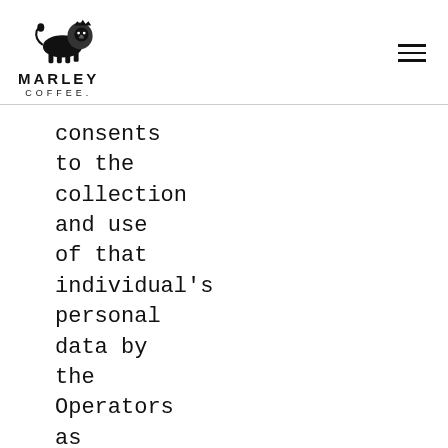[Figure (logo): Marley Coffee logo with lion illustration above text MARLEY COFFEE.]
consents to the collection and use of that individual's personal data by the Operators as